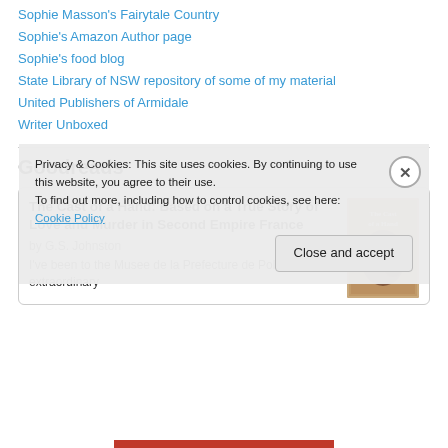Sophie Masson's Fairytale Country
Sophie's Amazon Author page
Sophie's food blog
State Library of NSW repository of some of my material
United Publishers of Armidale
Writer Unboxed
Goodreads
The Cast of a Hand: Based on a True Story of Love and Murder in Second Empire France
by G.S. Johnston
I've been to the Musee de la Prefecture de Police, an extraordinary
Privacy & Cookies: This site uses cookies. By continuing to use this website, you agree to their use.
To find out more, including how to control cookies, see here: Cookie Policy
Close and accept